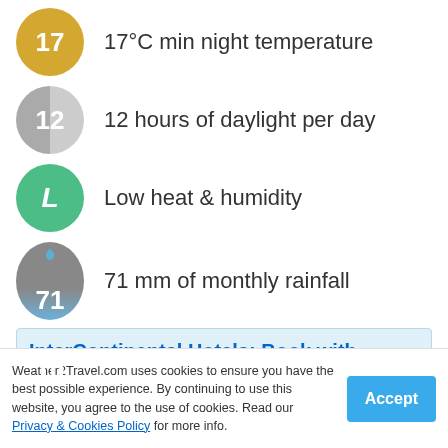17°C min night temperature
12 hours of daylight per day
Low heat & humidity
71 mm of monthly rainfall
10 (Very High) UV index
[Figure (infographic): InterContinental Hotels advertisement with logo and bullet point: Amend reservations without charge]
Weather2Travel.com uses cookies to ensure you have the best possible experience. By continuing to use this website, you agree to the use of cookies. Read our Privacy & Cookies Policy for more info.